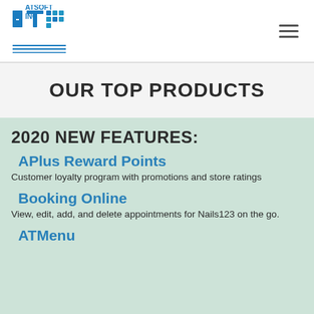[Figure (logo): ATSoft Inc logo with blue stylized AT letters and grid icon]
OUR TOP PRODUCTS
2020 NEW FEATURES:
APlus Reward Points
Customer loyalty program with promotions and store ratings
Booking Online
View, edit, add, and delete appointments for Nails123 on the go.
ATMenu